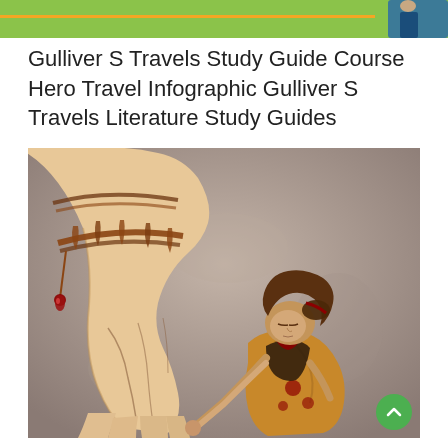[Figure (illustration): Green banner header with an orange horizontal line and a partial figure of a person in blue clothing visible at top right corner]
Gulliver S Travels Study Guide Course Hero Travel Infographic Gulliver S Travels Literature Study Guides
[Figure (illustration): Classic illustration from Gulliver's Travels showing a large bound hand of Gulliver tied with ropes and small ornaments/pendants, while a Lilliputian woman in period clothing bends over examining or working on the giant hand.]